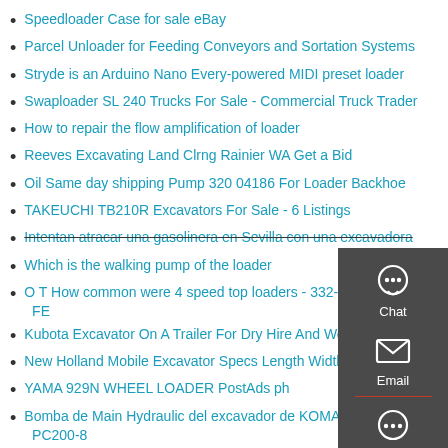Speedloader Case for sale eBay
Parcel Unloader for Feeding Conveyors and Sortation Systems
Stryde is an Arduino Nano Every-powered MIDI preset loader
Swaploader SL 240 Trucks For Sale - Commercial Truck Trader
How to repair the flow amplification of loader
Reeves Excavating Land Clrng Rainier WA Get a Bid
Oil Same day shipping Pump 320 04186 For Loader Backhoe
TAKEUCHI TB210R Excavators For Sale - 6 Listings
Intentan atracar una gasolinera en Sevilla con una excavadora
Which is the walking pump of the loader
O T How common were 4 speed top loaders - 332-428 FE
Kubota Excavator On A Trailer For Dry Hire And Wet Hire
New Holland Mobile Excavator Specs Length Width Height
YAMA 929N WHEEL LOADER PostAds ph
Bomba de Main Hydraulic del excavador de KOMATSU PC200-8
Excavation Services in McKinney, Yelp